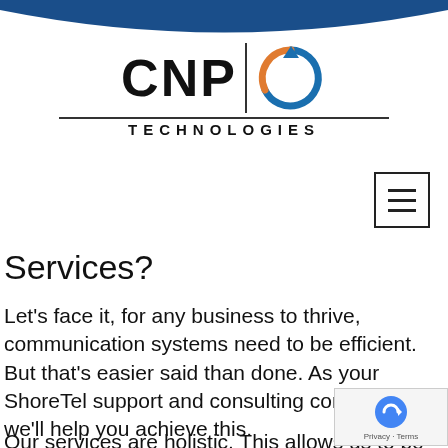[Figure (logo): CNP Technologies logo with circular arrow icon in blue and orange, vertical divider, and TECHNOLOGIES text below]
[Figure (other): Hamburger menu icon (three horizontal lines in a square border)]
Services?
Let’s face it, for any business to thrive, communication systems need to be efficient. But that's easier said than done. As your ShoreTel support and consulting company, we’ll help you achieve this.
Our services are holistic. This allows us to be yеr...